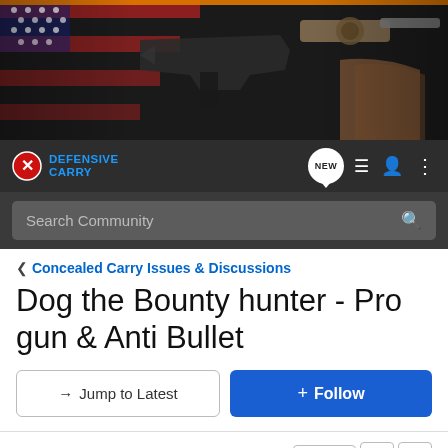[Figure (photo): Header banner image showing firearms (pistol and revolver), leather holster, and an American flag in dark cinematic lighting.]
DEFENSIVE CARRY — navigation bar with NEW badge, list icon, user icon, and menu icon. Search bar: Search Community
< Concealed Carry Issues & Discussions
Dog the Bounty hunter - Pro gun & Anti Bullet
→ Jump to Latest   ✚ Follow
1 - 20 of 117 Posts
1 of 6